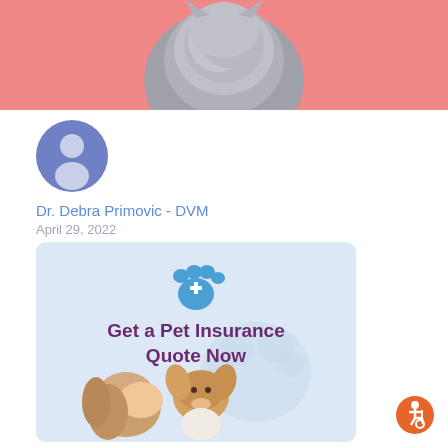[Figure (photo): Hero banner with pink background and grey kitten photographed from behind]
[Figure (photo): Circular avatar placeholder icon with blue/purple background showing generic person silhouette]
Dr. Debra Primovic - DVM
April 29, 2022
[Figure (infographic): Pet insurance advertisement box with light blue background, blue paw print with medical cross icon, bold purple text 'Get a Pet Insurance Quote Now', and photo of woman kissing a small dog]